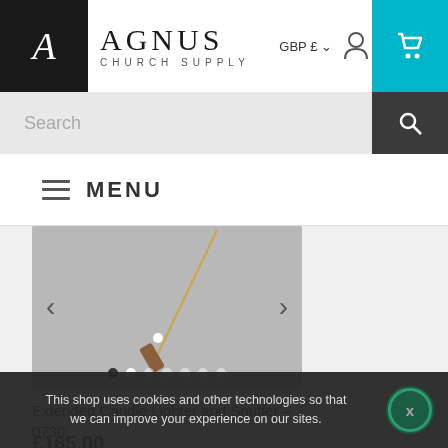[Figure (logo): Agnus Church Supply logo with 'A' lettermark in black box and brand name in serif font]
GBP £ ▾
[Figure (screenshot): Search bar with magnifying glass icon]
≡  MENU
[Figure (photo): Product photo of Extended Candle Lighter and Snuffer on grey background with navigation arrows and dot indicators]
Extended Candle Lighter and Snuffer – 0730
£165.00
This shop uses cookies and other technologies so that we can improve your experience on our sites.